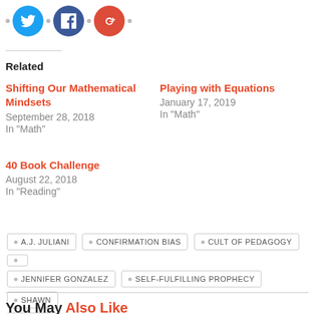[Figure (other): Social share icons: Twitter (blue circle), Facebook (dark blue circle), Google+ (red circle), with bullet dots between them]
Related
Shifting Our Mathematical Mindsets
September 28, 2018
In "Math"
Playing with Equations
January 17, 2019
In "Math"
40 Book Challenge
August 22, 2018
In "Reading"
A.J. JULIANI
CONFIRMATION BIAS
CULT OF PEDAGOGY
JENNIFER GONZALEZ
SELF-FULFILLING PROPHECY
SHAWN SEELEY
You May Also Like